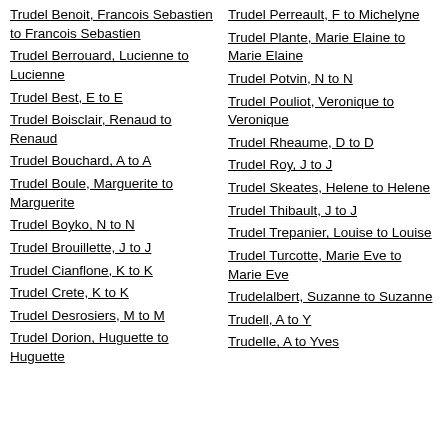Trudel Benoit, Francois Sebastien to Francois Sebastien
Trudel Berrouard, Lucienne to Lucienne
Trudel Best, E to E
Trudel Boisclair, Renaud to Renaud
Trudel Bouchard, A to A
Trudel Boule, Marguerite to Marguerite
Trudel Boyko, N to N
Trudel Brouillette, J to J
Trudel Cianflone, K to K
Trudel Crete, K to K
Trudel Desrosiers, M to M
Trudel Dorion, Huguette to Huguette
Trudel Perreault, F to Michelyne
Trudel Plante, Marie Elaine to Marie Elaine
Trudel Potvin, N to N
Trudel Pouliot, Veronique to Veronique
Trudel Rheaume, D to D
Trudel Roy, J to J
Trudel Skeates, Helene to Helene
Trudel Thibault, J to J
Trudel Trepanier, Louise to Louise
Trudel Turcotte, Marie Eve to Marie Eve
Trudelalbert, Suzanne to Suzanne
Trudell, A to Y
Trudelle, A to Yves